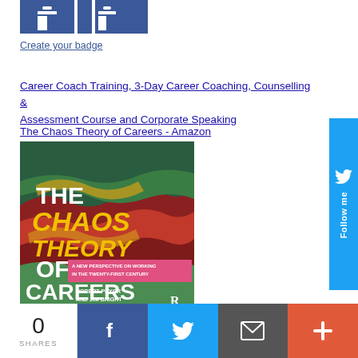[Figure (screenshot): Facebook badge image — two overlapping blue rectangles forming a partial Facebook logo]
Create your badge
Career Coach Training, 3-Day Career Coaching, Counselling & Assessment Course and Corporate Speaking
The Chaos Theory of Careers - Amazon
[Figure (photo): Book cover of 'The Chaos Theory of Careers: A New Perspective on Working in the Twenty-First Century' by Robert Pryor and Jim Bright, published by Routledge. Cover shows abstract fractal landscape with red, green and yellow patterns. Title text: THE in white, CHAOS THEORY in yellow, OF CAREERS in white. Subtitle on pink banner: A NEW PERSPECTIVE ON WORKING IN THE TWENTY-FIRST CENTURY.]
[Figure (other): Twitter Follow Me button on right side — blue vertical bar with bird icon and 'Follow me' text rotated vertically]
[Figure (other): Social share bar at bottom: 0 SHARES count, Facebook share button (dark blue), Twitter share button (light blue), Email share button (grey), Plus/more button (orange-red)]